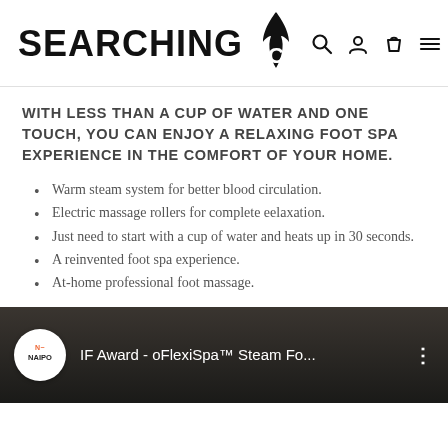SEARCHING C [logo with flame icon, search, user, cart, menu icons]
WITH LESS THAN A CUP OF WATER AND ONE TOUCH, YOU CAN ENJOY A RELAXING FOOT SPA EXPERIENCE IN THE COMFORT OF YOUR HOME.
Warm steam system for better blood circulation.
Electric massage rollers for complete eelaxation.
Just need to start with a cup of water and heats up in 30 seconds.
A reinvented foot spa experience.
At-home professional foot massage.
[Figure (screenshot): Video thumbnail showing NAIPO logo badge and title 'IF Award - oFlexiSpa™ Steam Fo...' with three-dot menu icon on dark background]